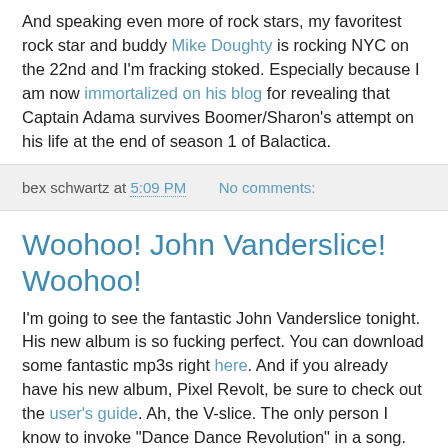And speaking even more of rock stars, my favoritest rock star and buddy Mike Doughty is rocking NYC on the 22nd and I'm fracking stoked. Especially because I am now immortalized on his blog for revealing that Captain Adama survives Boomer/Sharon's attempt on his life at the end of season 1 of Balactica.
bex schwartz at 5:09 PM   No comments:
Woohoo! John Vanderslice! Woohoo!
I'm going to see the fantastic John Vanderslice tonight. His new album is so fucking perfect. You can download some fantastic mp3s right here. And if you already have his new album, Pixel Revolt, be sure to check out the user's guide. Ah, the V-slice. The only person I know to invoke "Dance Dance Revolution" in a song. Awwwwwesome.
In other NYC-centric news, our mindboggling hologram for I